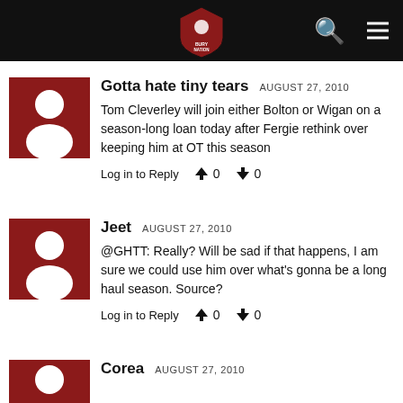BURY NATION logo, search icon, menu icon
Gotta hate tiny tears   AUGUST 27, 2010

Tom Cleverley will join either Bolton or Wigan on a season-long loan today after Fergie rethink over keeping him at OT this season

Log in to Reply  👍 0  👎 0
Jeet   AUGUST 27, 2010

@GHTT: Really? Will be sad if that happens, I am sure we could use him over what's gonna be a long haul season. Source?

Log in to Reply  👍 0  👎 0
Corea   AUGUST 27, 2010